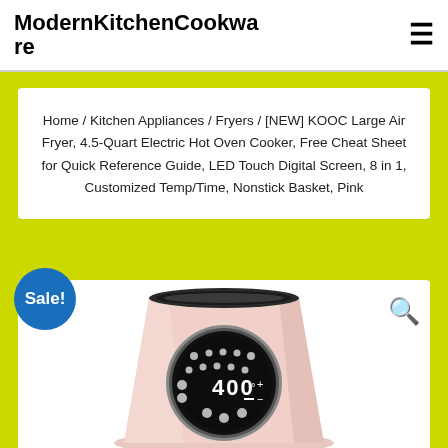ModernKitchenCookware
Home / Kitchen Appliances / Fryers / [NEW] KOOC Large Air Fryer, 4.5-Quart Electric Hot Oven Cooker, Free Cheat Sheet for Quick Reference Guide, LED Touch Digital Screen, 8 in 1, Customized Temp/Time, Nonstick Basket, Pink
[Figure (photo): Pink KOOC large air fryer with LED touch digital screen showing 400 degrees, with Sale badge and search icon]
Sale!